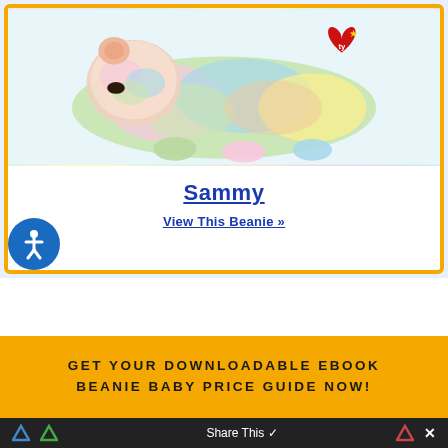[Figure (photo): Photo of a multicolored tie-dye Ty Beanie Baby stuffed animal (Sammy) lying on a light background, with red Ty heart tag visible]
Sammy
View This Beanie »
GET YOUR DOWNLOADABLE EBOOK BEANIE BABY PRICE GUIDE NOW!
Share This ✓  ✕